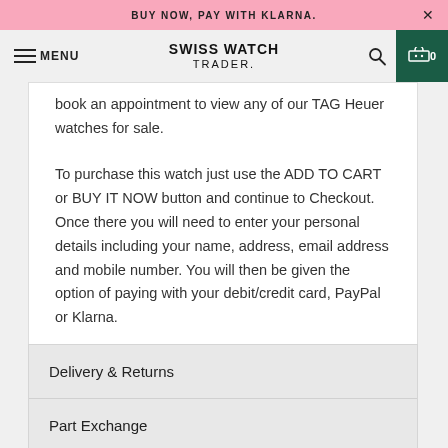BUY NOW, PAY WITH KLARNA.
SWISS WATCH TRADER.
book an appointment to view any of our TAG Heuer watches for sale.
To purchase this watch just use the ADD TO CART or BUY IT NOW button and continue to Checkout. Once there you will need to enter your personal details including your name, address, email address and mobile number. You will then be given the option of paying with your debit/credit card, PayPal or Klarna.
Delivery & Returns
Part Exchange